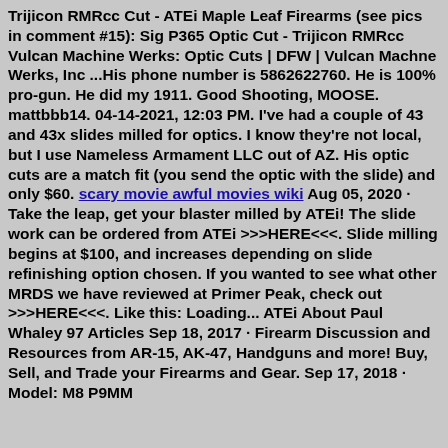Trijicon RMRcc Cut - ATEi Maple Leaf Firearms (see pics in comment #15): Sig P365 Optic Cut - Trijicon RMRcc Vulcan Machine Werks: Optic Cuts | DFW | Vulcan Machne Werks, Inc ...His phone number is 5862622760. He is 100% pro-gun. He did my 1911. Good Shooting, MOOSE. mattbbb14. 04-14-2021, 12:03 PM. I've had a couple of 43 and 43x slides milled for optics. I know they're not local, but I use Nameless Armament LLC out of AZ. His optic cuts are a match fit (you send the optic with the slide) and only $60. scary movie awful movies wiki Aug 05, 2020 · Take the leap, get your blaster milled by ATEi! The slide work can be ordered from ATEi >>>HERE<<<. Slide milling begins at $100, and increases depending on slide refinishing option chosen. If you wanted to see what other MRDS we have reviewed at Primer Peak, check out >>>HERE<<<. Like this: Loading... ATEi About Paul Whaley 97 Articles Sep 18, 2017 · Firearm Discussion and Resources from AR-15, AK-47, Handguns and more! Buy, Sell, and Trade your Firearms and Gear. Sep 17, 2018 · Model: M8 P9MM